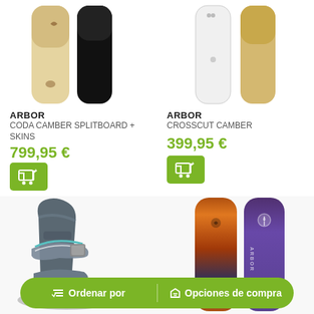[Figure (photo): Two snowboards side by side - natural wood color and black, partial top view]
ARBOR
CODA CAMBER SPLITBOARD + SKINS
799,95 €
[Figure (photo): Two snowboards side by side - white and wood color, partial top view]
ARBOR
CROSSCUT CAMBER
399,95 €
[Figure (photo): Bottom section showing snowboard binding on left and two snowboards (brown/orange gradient and purple) on right]
Ordenar por
Opciones de compra